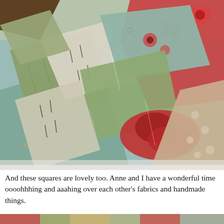[Figure (photo): Close-up photograph of a pile of fabric squares/scraps in various patterns including floral, geometric, and plain designs in colors of sage green, teal, red, cream, and brown. The fabric pieces are layered and overlapping, showing different quilting fabric patterns.]
And these squares are lovely too. Anne and I have a wonderful time oooohhhing and aaahing over each other's fabrics and handmade things.
[Figure (photo): Partial view of another photograph at the bottom of the page, showing colorful fabric or textile items.]